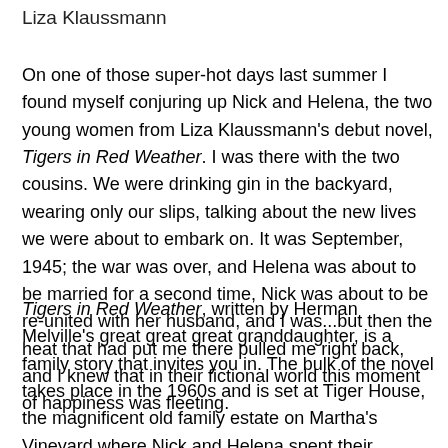Liza Klaussmann
On one of those super-hot days last summer I found myself conjuring up Nick and Helena, the two young women from Liza Klaussmann's debut novel, Tigers in Red Weather. I was there with the two cousins. We were drinking gin in the backyard, wearing only our slips, talking about the new lives we were about to embark on. It was September, 1945; the war was over, and Helena was about to be married for a second time, Nick was about to be re-united with her husband, and I was...but then the heat that had put me there pulled me right back, and I knew that in their fictional world this moment of happiness was fleeting.
Tigers in Red Weather, written by Herman Melville's great great great granddaughter, is a family story that invites you in. The bulk of the novel takes place in the 1960s and is set at Tiger House, the magnificent old family estate on Martha's Vineyard where Nick and Helena spent their summers together as children. Though Tiger House is still the same, the island has changed. When Ed, Helena's son, and Daisy, Nick's daughter, discover the victim of a brutal murder, the